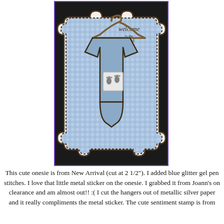[Figure (photo): A handcrafted baby card featuring a blue onesie on a hanger over a blue gingham background with scalloped cream border. The onesie has a metallic sticker with baby footprints. Text on the card reads 'welcome to the world little one.']
This cute onesie is from New Arrival (cut at 2 1/2"). I added blue glitter gel pen stitches.  I love that little metal sticker on the onesie.  I grabbed it from Joann's on clearance and am almost out!! :( I cut the hangers out of metallic silver paper and it really compliments the metal sticker. The cute sentiment stamp is from